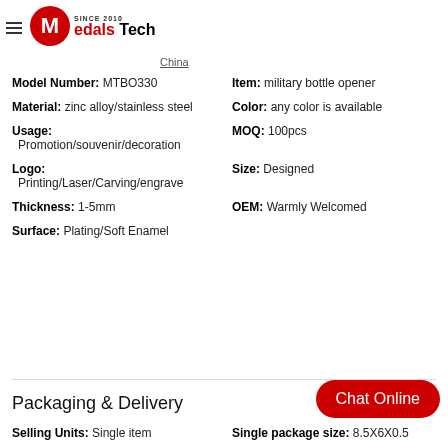Medals Tech — Since 2010
China
Model Number: MTBO330    Item: military bottle opener
Material: zinc alloy/stainless steel    Color: any color is available
Usage: Promotion/souvenir/decoration    MOQ: 100pcs
Logo: Printing/Laser/Carving/engrave    Size: Designed
Thickness: 1-5mm    OEM: Warmly Welcomed
Surface: Plating/Soft Enamel
Packaging & Delivery
Selling Units: Single item    Single package size: 8.5X6X0.5